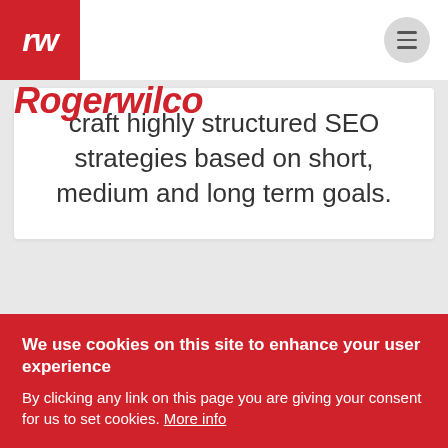rw Rogerwilco
craft highly structured SEO strategies based on short, medium and long term goals.
We use cookies on this site to enhance your user experience
By clicking any link on this page you are giving your consent for us to set cookies. More info